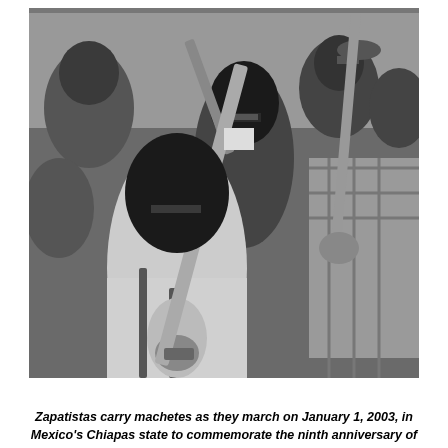[Figure (photo): Black and white photograph of Zapatistas wearing black ski masks/balaclavas, holding machetes raised upward, marching in a crowd. The foreground figure wears a light-colored jacket with suspenders. Other masked figures and crowd members visible in the background.]
Zapatistas carry machetes as they march on January 1, 2003, in Mexico's Chiapas state to commemorate the ninth anniversary of